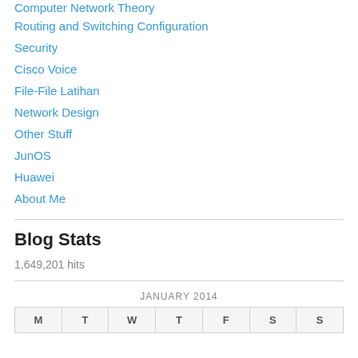Computer Network Theory
Routing and Switching Configuration
Security
Cisco Voice
File-File Latihan
Network Design
Other Stuff
JunOS
Huawei
About Me
Blog Stats
1,649,201 hits
JANUARY 2014
| M | T | W | T | F | S | S |
| --- | --- | --- | --- | --- | --- | --- |